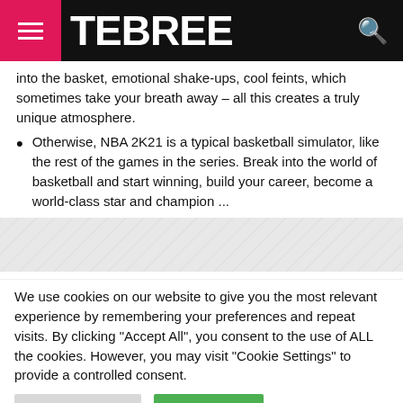TEBREE
into the basket, emotional shake-ups, cool feints, which sometimes take your breath away – all this creates a truly unique atmosphere.
Otherwise, NBA 2K21 is a typical basketball simulator, like the rest of the games in the series. Break into the world of basketball and start winning, build your career, become a world-class star and champion ...
[Figure (other): Advertisement or image placeholder with light gray background]
We use cookies on our website to give you the most relevant experience by remembering your preferences and repeat visits. By clicking "Accept All", you consent to the use of ALL the cookies. However, you may visit "Cookie Settings" to provide a controlled consent.